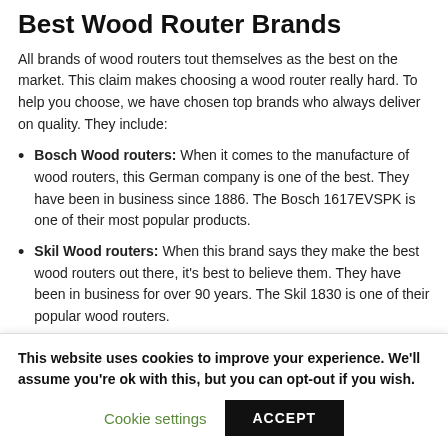Best Wood Router Brands
All brands of wood routers tout themselves as the best on the market. This claim makes choosing a wood router really hard. To help you choose, we have chosen top brands who always deliver on quality. They include:
Bosch Wood routers: When it comes to the manufacture of wood routers, this German company is one of the best. They have been in business since 1886. The Bosch 1617EVSPK is one of their most popular products.
Skil Wood routers: When this brand says they make the best wood routers out there, it's best to believe them. They have been in business for over 90 years. The Skil 1830 is one of their popular wood routers.
This website uses cookies to improve your experience. We'll assume you're ok with this, but you can opt-out if you wish.